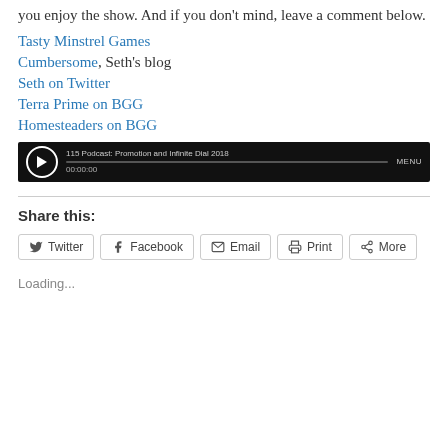you enjoy the show. And if you don't mind, leave a comment below.
Tasty Minstrel Games
Cumbersome, Seth's blog
Seth on Twitter
Terra Prime on BGG
Homesteaders on BGG
[Figure (screenshot): Audio player widget with black background showing '115 Podcast: Promotion and Infinite Dial 2018', play button, progress bar, time 00:00:00, and MENU label]
Share this:
Twitter  Facebook  Email  Print  More
Loading...